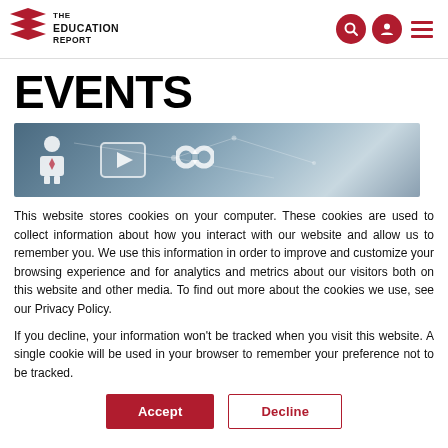THE EDUCATION REPORT
EVENTS
[Figure (illustration): Dark blue-grey banner with white icons: a person/speaker figure on left, a video play button in the center, and a binoculars/search icon on the right, with network lines in the background]
This website stores cookies on your computer. These cookies are used to collect information about how you interact with our website and allow us to remember you. We use this information in order to improve and customize your browsing experience and for analytics and metrics about our visitors both on this website and other media. To find out more about the cookies we use, see our Privacy Policy.
If you decline, your information won't be tracked when you visit this website. A single cookie will be used in your browser to remember your preference not to be tracked.